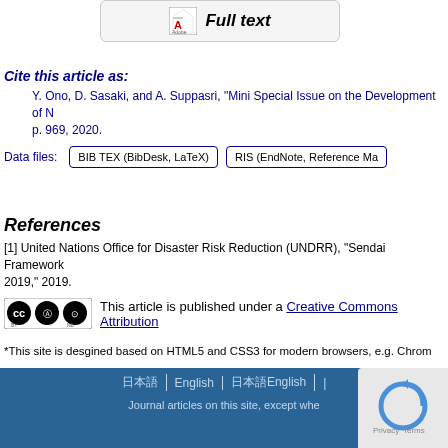[Figure (other): Full text button with Adobe PDF icon]
Cite this article as:
Y. Ono, D. Sasaki, and A. Suppasri, "Mini Special Issue on the Development of N... p. 969, 2020.
Data files: BIB TEX (BibDesk, LaTeX)  RIS (EndNote, Reference Ma...
References
[1] United Nations Office for Disaster Risk Reduction (UNDRR), "Sendai Framework... 2019," 2019.
This article is published under a Creative Commons Attribution...
*This site is desgined based on HTML5 and CSS3 for modern browsers, e.g. Chrom...
日本語 | English | 日本語English | Journal articles on this site, except whe...